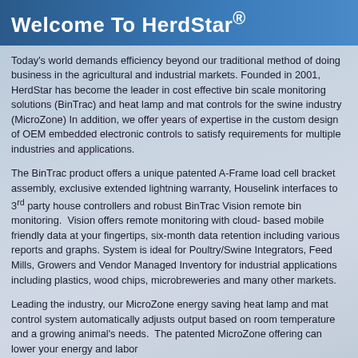Welcome To HerdStar®
Today's world demands efficiency beyond our traditional method of doing business in the agricultural and industrial markets. Founded in 2001, HerdStar has become the leader in cost effective bin scale monitoring solutions (BinTrac) and heat lamp and mat controls for the swine industry (MicroZone) In addition, we offer years of expertise in the custom design of OEM embedded electronic controls to satisfy requirements for multiple industries and applications.
The BinTrac product offers a unique patented A-Frame load cell bracket assembly, exclusive extended lightning warranty, Houselink interfaces to 3rd party house controllers and robust BinTrac Vision remote bin monitoring.  Vision offers remote monitoring with cloud- based mobile friendly data at your fingertips, six-month data retention including various reports and graphs. System is ideal for Poultry/Swine Integrators, Feed Mills, Growers and Vendor Managed Inventory for industrial applications including plastics, wood chips, microbreweries and many other markets.
Leading the industry, our MicroZone energy saving heat lamp and mat control system automatically adjusts output based on room temperature and a growing animal's needs.  The patented MicroZone offering can lower your energy and labor